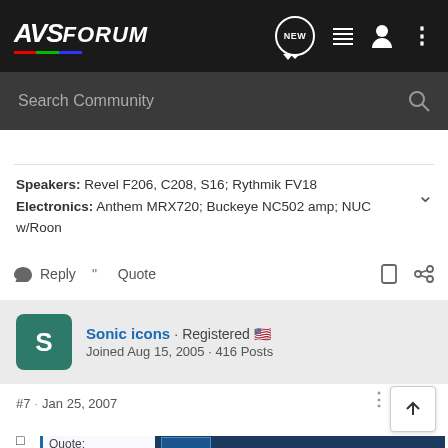AVSForum
Search Community
Speakers: Revel F206, C208, S16; Rythmik FV18
Electronics: Anthem MRX720; Buckeye NC502 amp; NUC w/Roon
Reply  Quote
Sonic icons · Registered
Joined Aug 15, 2005 · 416 Posts
#7 · Jan 25, 2007
[Figure (screenshot): SVS SoundPath Audio Accessories advertisement banner with blue background, SVS logo, and Learn More button]
Quote:
Origina